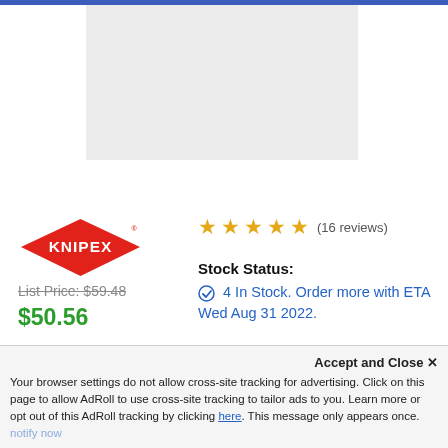[Figure (other): Gray placeholder rectangle for product image]
[Figure (logo): KNIPEX red diamond logo with white text]
★★★★★ (16 reviews)
List Price: $59.48
$50.56
Stock Status:
4 In Stock. Order more with ETA Wed Aug 31 2022.
Quantity: 1
Add to Cart
Add to Wish List
Accept and Close ×
Your browser settings do not allow cross-site tracking for advertising. Click on this page to allow AdRoll to use cross-site tracking to tailor ads to you. Learn more or opt out of this AdRoll tracking by clicking here. This message only appears once.